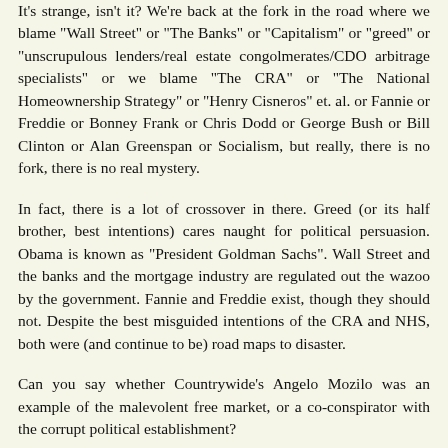It's strange, isn't it? We're back at the fork in the road where we blame "Wall Street" or "The Banks" or "Capitalism" or "greed" or "unscrupulous lenders/real estate congolmerates/CDO arbitrage specialists" or we blame "The CRA" or "The National Homeownership Strategy" or "Henry Cisneros" et. al. or Fannie or Freddie or Bonney Frank or Chris Dodd or George Bush or Bill Clinton or Alan Greenspan or Socialism, but really, there is no fork, there is no real mystery.
In fact, there is a lot of crossover in there. Greed (or its half brother, best intentions) cares naught for political persuasion. Obama is known as "President Goldman Sachs". Wall Street and the banks and the mortgage industry are regulated out the wazoo by the government. Fannie and Freddie exist, though they should not. Despite the best misguided intentions of the CRA and NHS, both were (and continue to be) road maps to disaster.
Can you say whether Countrywide's Angelo Mozilo was an example of the malevolent free market, or a co-conspirator with the corrupt political establishment?
And what's to be made of the observation that Countrywide and Mozilo are gone, but we've yet to see heads on pikes up Capitol